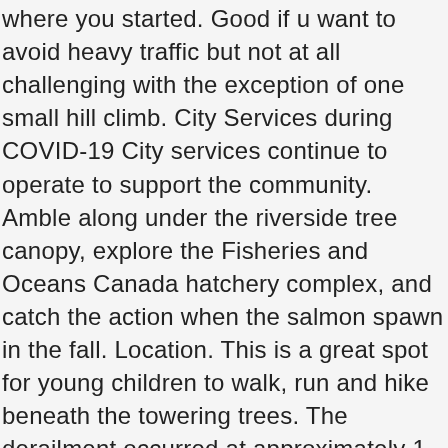where you started. Good if u want to avoid heavy traffic but not at all challenging with the exception of one small hill climb. City Services during COVID-19 City services continue to operate to support the community. Amble along under the riverside tree canopy, explore the Fisheries and Oceans Canada hatchery complex, and catch the action when the salmon spawn in the fall. Location. This is a great spot for young children to walk, run and hike beneath the towering trees. The derailment occurred at approximately 1 a.m. MST on Feb. 4, 2019. Qualicum to Parksville Trail is a 17.1 mile out and back trail located near Qualicum Beach, British Columbia, Canada that offers the chance to see wildlife and is rated as moderate. Needing a little fresh air? PQ Links Trail (Parksville - Qualicum links) Well - I should have anticipated this. The ride up Laburnum is one of the most serene but gruelling rides in the area. This Link Trail is included in the Action Plan for Parksville's Parks and Trails, which follows the Guiding Principles below. Three men from Calgary died: conductor Dylan Paradis, engineer Andrew Dockrell and ... Well maintained